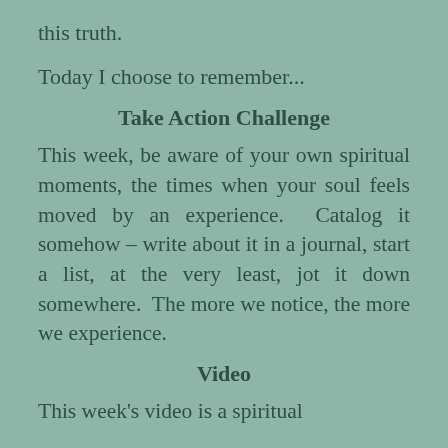this truth.
Today I choose to remember...
Take Action Challenge
This week, be aware of your own spiritual moments, the times when your soul feels moved by an experience.  Catalog it somehow – write about it in a journal, start a list, at the very least, jot it down somewhere.  The more we notice, the more we experience.
Video
This week's video is a spiritual